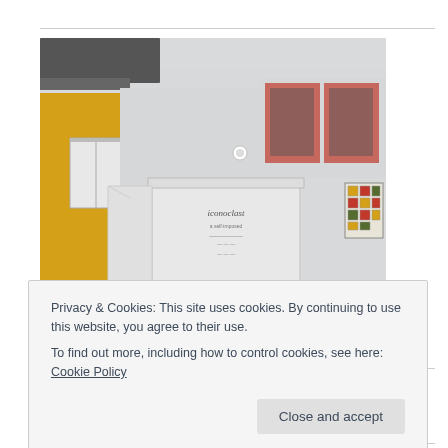[Figure (photo): Photograph of an outdoor art installation — a white cabinet-like structure displaying the word 'iconoclast' and text, positioned in front of a shophouse building with yellow walls and red-framed windows.]
Iconoclast Series – Cheo Chai-Hiang's 5' x 5' (Singapore River) (1972)
Privacy & Cookies: This site uses cookies. By continuing to use this website, you agree to their use.
To find out more, including how to control cookies, see here: Cookie Policy